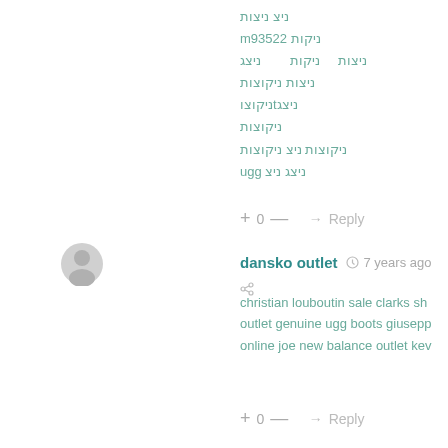ugg ניקה ניב
m93522 ניקות
ניצות   ניקות       ניצג
ניצות ניקוצות
ניקוצוtניצג
ניקוצות
ניקוצות ניצ ניקוצות
ugg ניצג ניצ
+ 0 — → Reply
[Figure (illustration): Gray avatar/user icon circle]
dansko outlet  🕐 7 years ago  🔗
christian louboutin sale clarks sh outlet genuine ugg boots giusepp online joe new balance outlet kev
+ 0 — → Reply